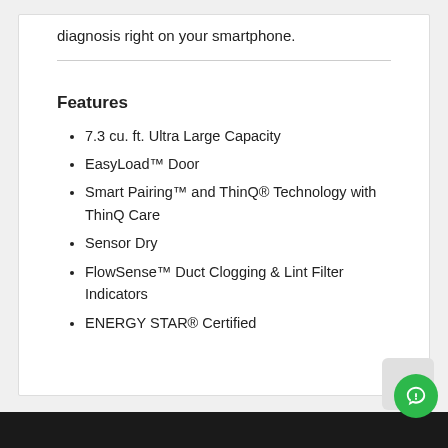diagnosis right on your smartphone.
Features
7.3 cu. ft. Ultra Large Capacity
EasyLoad™ Door
Smart Pairing™ and ThinQ® Technology with ThinQ Care
Sensor Dry
FlowSense™ Duct Clogging & Lint Filter Indicators
ENERGY STAR® Certified